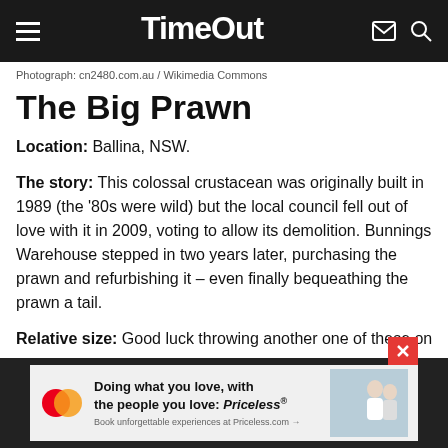Time Out
Photograph: cn2480.com.au / Wikimedia Commons
The Big Prawn
Location: Ballina, NSW.
The story: This colossal crustacean was originally built in 1989 (the '80s were wild) but the local council fell out of love with it in 2009, voting to allow its demolition. Bunnings Warehouse stepped in two years later, purchasing the prawn and refurbishing it – even finally bequeathing the prawn a tail.
Relative size: Good luck throwing another one of these on
[Figure (illustration): Mastercard advertisement banner: 'Doing what you love, with the people you love: Priceless. Book unforgettable experiences at Priceless.com →' with couple image.]